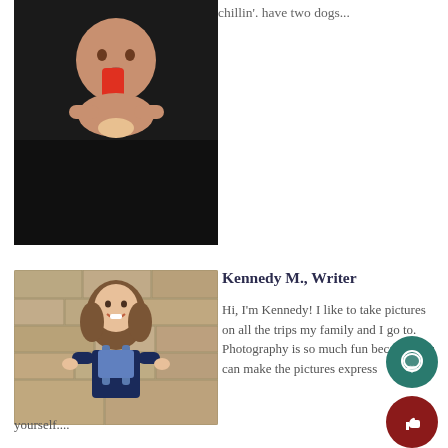chillin'.  have two dogs...
[Figure (photo): Baby/toddler eating a red popsicle, photo split with dark lower half]
[Figure (photo): Young girl with long brown hair wearing navy shirt and denim overalls, smiling in front of stone wall]
Kennedy M., Writer
Hi, I'm Kennedy! I like to take pictures on all the trips my family and I go to. Photography is so much fun because you can make the pictures express yourself....